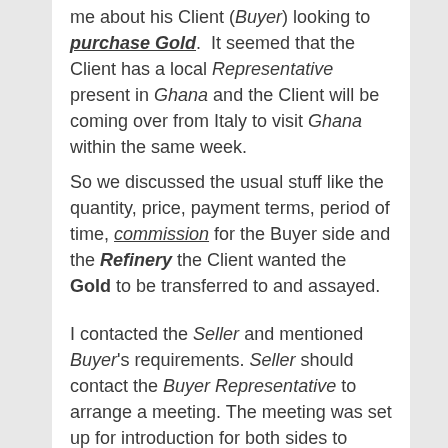me about his Client (Buyer) looking to purchase Gold.  It seemed that the Client has a local Representative present in Ghana and the Client will be coming over from Italy to visit Ghana within the same week.
So we discussed the usual stuff like the quantity, price, payment terms, period of time, commission for the Buyer side and the Refinery the Client wanted the Gold to be transferred to and assayed.

I contacted the Seller and mentioned Buyer's requirements. Seller should contact the Buyer Representative to arrange a meeting. The meeting was set up for introduction for both sides to benefit the workingrelationship.
At the meeting they also will get the time to discuss the arrangement of the transaction. In the mean time the Purchase Agreement had been signed